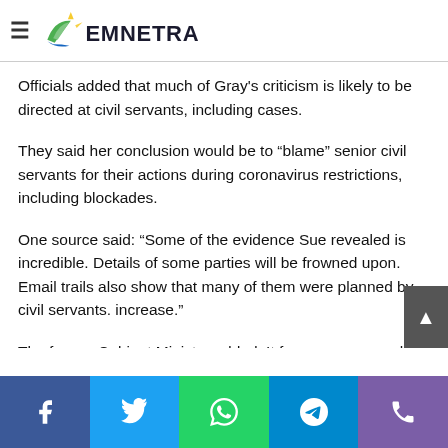EMNETRA
Whitehall officials said her full report is unlikely to be enforced ... and allies expected to criticize him
Officials added that much of Gray's criticism is likely to be directed at civil servants, including cases.
They said her conclusion would be to “blame” senior civil servants for their actions during coronavirus restrictions, including blockades.
One source said: “Some of the evidence Sue revealed is incredible. Details of some parties will be frowned upon. Email trails also show that many of them were planned by civil servants. increase.”
The former Cabinet Minister added: It focuses very much on...
Facebook | Twitter | WhatsApp | Telegram | Phone